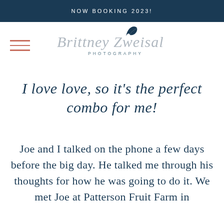NOW BOOKING 2023!
[Figure (logo): Brittney Zweisal Photography logo with script text and bird icon]
I love love, so it's the perfect combo for me!
Joe and I talked on the phone a few days before the big day. He talked me through his thoughts for how he was going to do it. We met Joe at Patterson Fruit Farm in